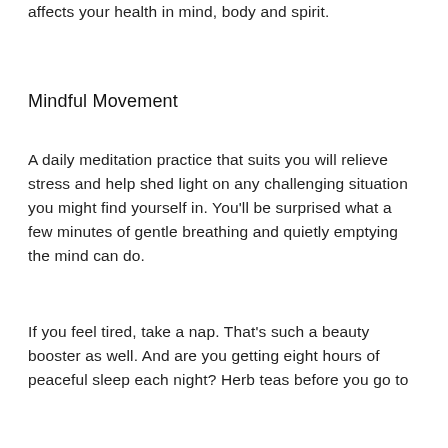affects your health in mind, body and spirit.
Mindful Movement
A daily meditation practice that suits you will relieve stress and help shed light on any challenging situation you might find yourself in. You'll be surprised what a few minutes of gentle breathing and quietly emptying the mind can do.
If you feel tired, take a nap. That's such a beauty booster as well. And are you getting eight hours of peaceful sleep each night? Herb teas before you go to